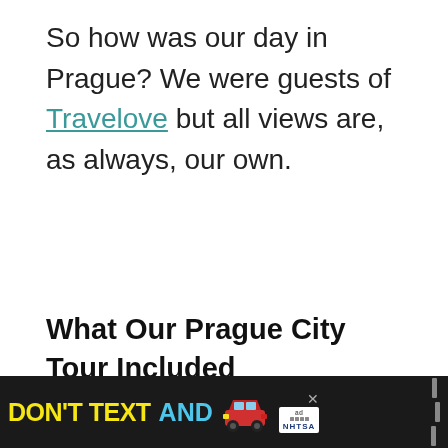So how was our day in Prague? We were guests of Travelove but all views are, as always, our own.
What Our Prague City Tour Included
[Figure (photo): Photo of Prague travel diary items including a book labeled 'My Prague Diary To Dylan', colorful pens, notebooks, small wooden rabbit toy, and other souvenirs spread on a table. Social media overlay buttons (heart icon showing 536, share icon) are in top right. A 'What's Next' panel shows GetYourGuide Review. An ad banner at the bottom reads DON'T TEXT AND with a car emoji and NHTSA logo.]